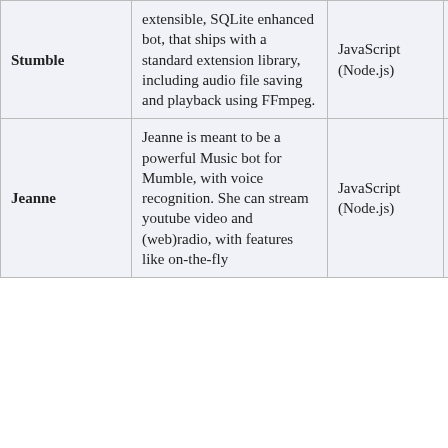| Name | Description | Language | - | License |
| --- | --- | --- | --- | --- |
| Stumble | extensible, SQLite enhanced bot, that ships with a standard extension library, including audio file saving and playback using FFmpeg. | JavaScript (Node.js) | - | MIT |
| Jeanne | Jeanne is meant to be a powerful Music bot for Mumble, with voice recognition. She can stream youtube video and (web)radio, with features like on-the-fly | JavaScript (Node.js) | - | MIT |